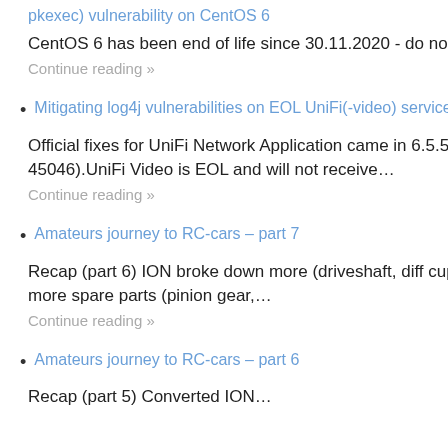pkexec) vulnerability on CentOS 6
CentOS 6 has been end of life since 30.11.2020 - do not use it. Well, you're still reading this, so…
Continue reading »
Mitigating log4j vulnerabilities on EOL UniFi(-video) services
Official fixes for UniFi Network Application came in 6.5.54 (CVE-2021-44228) & 6.5.55 (CVE-2021-45046).UniFi Video is EOL and will not receive…
Continue reading »
Amateurs journey to RC-cars – part 7
Recap (part 6) ION broke down more (driveshaft, diff cup inside differential) and requires even more spare parts (pinion gear,…
Continue reading »
Amateurs journey to RC-cars – part 6
Recap (part 5) Converted ION…
January 20…
December 2…
Meta
Log in
Entries feed
Comments f…
WordPress.…